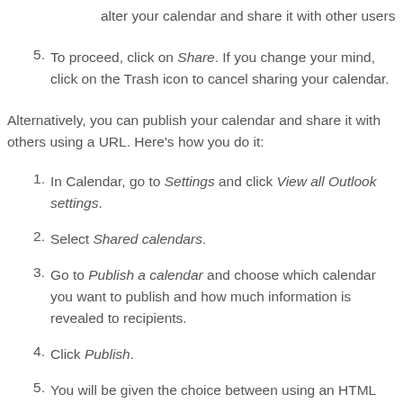alter your calendar and share it with other users
To proceed, click on Share. If you change your mind, click on the Trash icon to cancel sharing your calendar.
Alternatively, you can publish your calendar and share it with others using a URL. Here's how you do it:
In Calendar, go to Settings and click View all Outlook settings.
Select Shared calendars.
Go to Publish a calendar and choose which calendar you want to publish and how much information is revealed to recipients.
Click Publish.
You will be given the choice between using an HTML